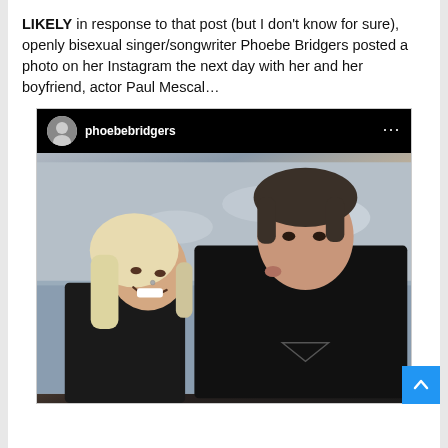LIKELY in response to that post (but I don't know for sure), openly bisexual singer/songwriter Phoebe Bridgers posted a photo on her Instagram the next day with her and her boyfriend, actor Paul Mescal...
[Figure (screenshot): Instagram post screenshot from phoebebridgers showing a photo of Phoebe Bridgers and Paul Mescal taking a selfie outdoors near the ocean, with Paul kissing Phoebe on the cheek. Both are wearing dark jackets. There is a scroll-to-top button (blue) in the bottom right corner.]